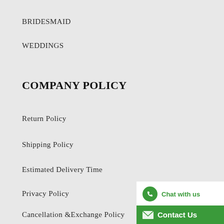BRIDESMAID
WEDDINGS
COMPANY POLICY
Return Policy
Shipping Policy
Estimated Delivery Time
Privacy Policy
Cancellation &Exchange Policy
[Figure (other): Chat with us / Contact Us widget button in green and white]